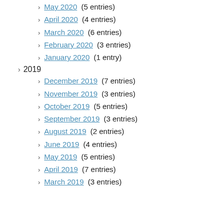May 2020 (5 entries)
April 2020 (4 entries)
March 2020 (6 entries)
February 2020 (3 entries)
January 2020 (1 entry)
2019
December 2019 (7 entries)
November 2019 (3 entries)
October 2019 (5 entries)
September 2019 (3 entries)
August 2019 (2 entries)
June 2019 (4 entries)
May 2019 (5 entries)
April 2019 (7 entries)
March 2019 (3 entries)